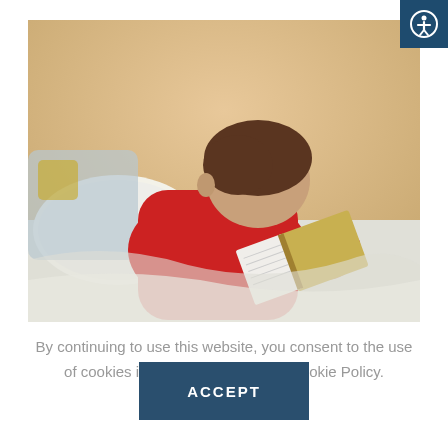[Figure (photo): A young child in a red shirt lying in bed reading a book, viewed from behind, against a warm beige background with white bedding.]
By continuing to use this website, you consent to the use of cookies in accordance with our Cookie Policy.
ACCEPT